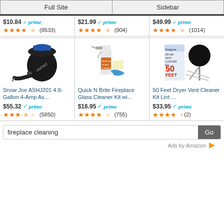[Figure (screenshot): Amazon ads widget showing Full Site and Sidebar tabs at top, two rows of product listings with images, prices, prime badges, star ratings and review counts, a search box with 'fireplace cleaning' query, and 'Ads by Amazon' footer.]